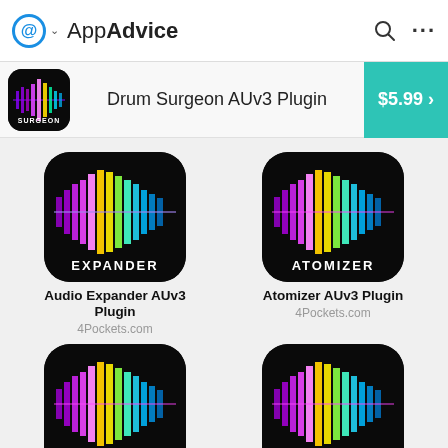AppAdvice
[Figure (screenshot): AppAdvice website header with logo, search and menu icons]
[Figure (screenshot): Banner ad for Drum Surgeon AUv3 Plugin priced at $5.99]
[Figure (screenshot): Audio Expander AUv3 Plugin app icon with colorful waveform on black background]
Audio Expander AUv3 Plugin
4Pockets.com
[Figure (screenshot): Atomizer AUv3 Plugin app icon with colorful waveform on black background]
Atomizer AUv3 Plugin
4Pockets.com
[Figure (screenshot): DigiStix 2 AUv3 Plugin app icon with colorful waveform on black background]
DigiStix 2 AUv3 Plugin
4Pockets.com
[Figure (screenshot): DigiStix Drummer AUv3 Plugin app icon with colorful waveform on black background]
DigiStix Drummer AUv3 Plugin